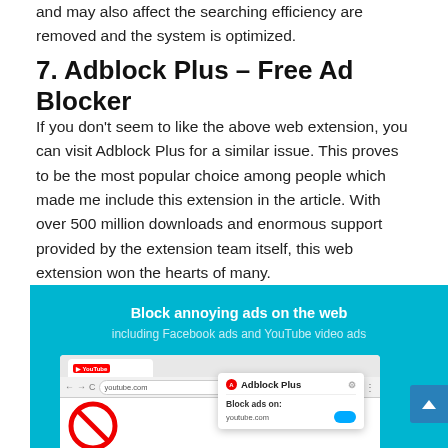and may also affect the searching efficiency are removed and the system is optimized.
7. Adblock Plus – Free Ad Blocker
If you don't seem to like the above web extension, you can visit Adblock Plus for a similar issue. This proves to be the most popular choice among people which made me include this extension in the article. With over 500 million downloads and enormous support provided by the extension team itself, this web extension won the hearts of many.
[Figure (screenshot): Screenshot of Adblock Plus promotional banner with teal background. Shows text 'Block annoying ads on the web including Facebook ads and YouTube video ads' and a browser window showing YouTube with the Adblock Plus extension popup open displaying 'Block ads on: youtube.com'.]